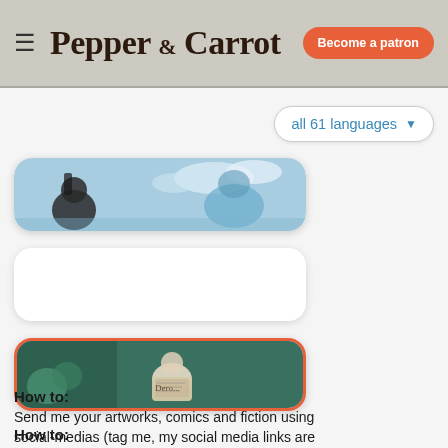Pepper & Carrot — Become a patron
all 61 languages
[Figure (screenshot): Comic strip thumbnail card 1 — blue sky scene with character silhouettes, rounded rectangle shape]
[Figure (screenshot): Comic strip thumbnail card 2 — white/blank rounded rectangle card]
[Figure (screenshot): Comic strip thumbnail card 3 — teal/green scene with orange border, character reading]
How to:
Send me your artworks, comics and fiction using social-medias (tag me, my social media links are written in the footer of this